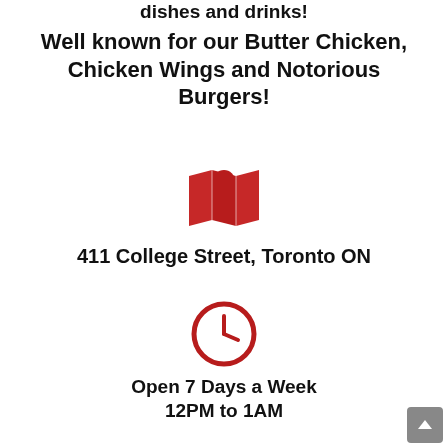dishes and drinks!
Well known for our Butter Chicken, Chicken Wings and Notorious Burgers!
[Figure (illustration): Red map pin / location icon over a folded map icon in dark red/crimson color]
411 College Street, Toronto ON
[Figure (illustration): Red clock / time icon, circular with hour and minute hands]
Open 7 Days a Week 12PM to 1AM